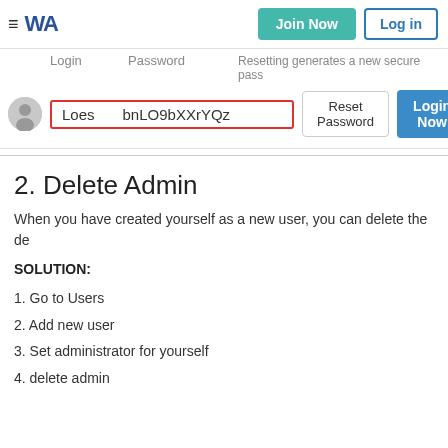[Figure (screenshot): Website header/navbar with hamburger menu, WA logo, Join Now teal button, and Log in outlined button]
[Figure (screenshot): Admin panel user row showing Login and Password column headers, user avatar, red-bordered fields showing 'Loes' and 'bnLO9bXXrYQz', Reset Password button, Login Now blue button. Note at top right: 'Resetting generates a new secure pass']
2. Delete Admin
When you have created yourself as a new user, you can delete the de
SOLUTION:
1. Go to Users
2. Add new user
3. Set administrator for yourself
4. delete admin